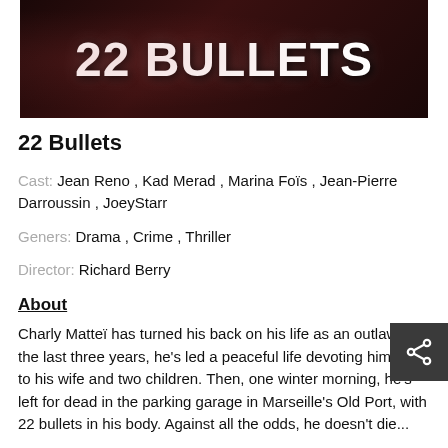[Figure (photo): Movie poster/banner for '22 Bullets' showing stylized text on dark background]
22 Bullets
Cast: Jean Reno , Kad Merad , Marina Foïs , Jean-Pierre Darroussin , JoeyStarr
Geners: Drama , Crime , Thriller
Director: Richard Berry
About
Charly Matteï has turned his back on his life as an outlaw. For the last three years, he's led a peaceful life devoting himself to his wife and two children. Then, one winter morning, he's left for dead in the parking garage in Marseille's Old Port, with 22 bullets in his body. Against all the odds, he doesn't die...